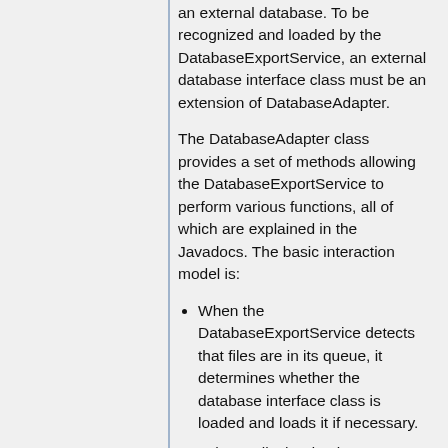an external database. To be recognized and loaded by the DatabaseExportService, an external database interface class must be an extension of DatabaseAdapter.
The DatabaseAdapter class provides a set of methods allowing the DatabaseExportService to perform various functions, all of which are explained in the Javadocs. The basic interaction model is:
When the DatabaseExportService detects that files are in its queue, it determines whether the database interface class is loaded and loads it if necessary.
It then calls the database interface's connect() method.
For each file in the queue, it instantiates an object matching the